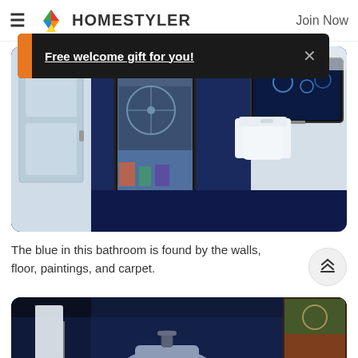HOMESTYLER — Join Now
Free welcome gift for you!
[Figure (photo): Interior render of a blue bathroom with dark navy walls and floor, a white toilet, a large window with city view, and a wall-mounted TV showing a nighttime scene.]
The blue in this bathroom is found by the walls, floor, paintings, and carpet.
[Figure (photo): Another angle of the blue bathroom interior showing the sink area from above, with dark navy walls, a white curtain, and artwork on the wall.]